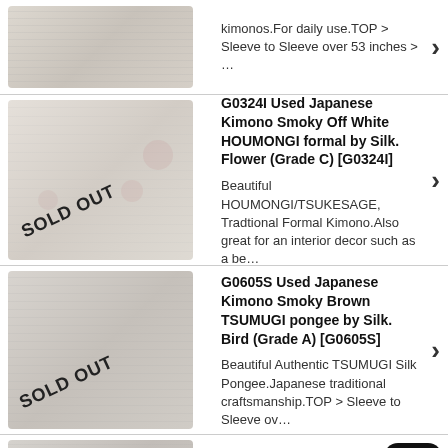[Figure (photo): Partial view of first kimono product image (cropped at top), light colored kimono]
kimonos.For daily use.TOP > Sleeve to Sleeve over 53 inches > …
[Figure (photo): Used Japanese Kimono Smoky Off White HOUMONGI with SOLD OUT label]
G0324I Used Japanese Kimono Smoky Off White HOUMONGI formal by Silk. Flower (Grade C) [G0324I]
Beautiful HOUMONGI/TSUKESAGE, Tradtional Formal Kimono.Also great for an interior decor such as a be...
[Figure (photo): Used Japanese Kimono Smoky Brown TSUMUGI pongee with SOLD OUT label]
G0605S Used Japanese Kimono Smoky Brown TSUMUGI pongee by Silk. Bird (Grade A) [G0605S]
Beautiful Authentic TSUMUGI Silk Pongee.Japanese traditional craftsmanship.TOP > Sleeve to Sleeve ov...
[Figure (photo): Partial view of Mint G0907J Used Japanese Kimono Smoky Olive KOMON with SOLD OUT label]
Mint G0907J Used Japanese Kimono Smoky Olive KOMON dyed by Silk. Geometrical pattern (Grade A) [G0907J]